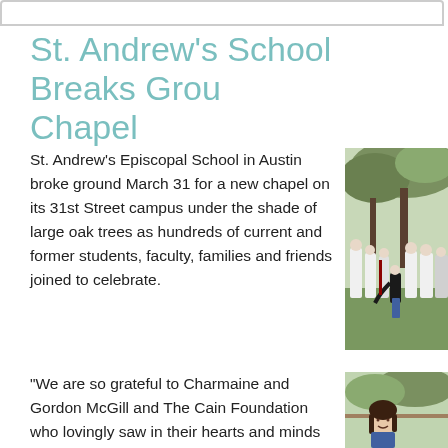St. Andrew's School Breaks Ground on New Chapel
St. Andrew's Episcopal School in Austin broke ground March 31 for a new chapel on its 31st Street campus under the shade of large oak trees as hundreds of current and former students, faculty, families and friends joined to celebrate.
[Figure (photo): Outdoor groundbreaking ceremony with students and clergy in white robes gathered under large oak trees on a grassy campus]
“We are so grateful to Charmaine and Gordon McGill and The Cain Foundation who lovingly saw in their hearts and minds the difference this chapel would
[Figure (photo): Young student smiling outdoors on campus with trees in background]